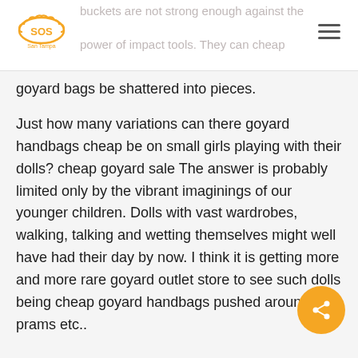SOS San Tampa logo and navigation header
buckets are not strong enough against the power of impact tools. They can cheap goyard bags be shattered into pieces.
Just how many variations can there goyard handbags cheap be on small girls playing with their dolls? cheap goyard sale The answer is probably limited only by the vibrant imaginings of our younger children. Dolls with vast wardrobes, walking, talking and wetting themselves might well have had their day by now. I think it is getting more and more rare goyard outlet store to see such dolls being cheap goyard handbags pushed around in prams etc..